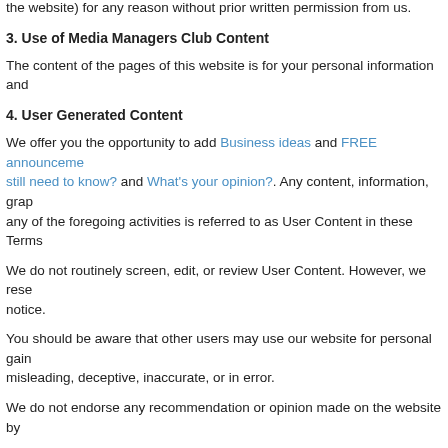the website) for any reason without prior written permission from us.
3. Use of Media Managers Club Content
The content of the pages of this website is for your personal information and
4. User Generated Content
We offer you the opportunity to add Business ideas and FREE announcements, still need to know? and What's your opinion?. Any content, information, grap... any of the foregoing activities is referred to as User Content in these Terms
We do not routinely screen, edit, or review User Content. However, we rese... notice.
You should be aware that other users may use our website for personal gain misleading, deceptive, inaccurate, or in error.
We do not endorse any recommendation or opinion made on the website by
If you upload, post, link to, submit, transmit or otherwise make available any to upload, post, link to, submit, transmit or otherwise make available such U
You agree that upon uploading, posting, linking to, submitting, transmitting o affiliates and successors a non-exclusive, transferable, worldwide, perpetua perform, display, reproduce, and create derivative works from your User Co any form, in whole or part, without any duty to compensate you. You also gr users in accordance with these Terms of Use, including the rights to feature your User Content, such as for example through an RSS Feed.
You must comply with the FREE membership rules, FREE consultancy rules
5. Restricted Content & Activities